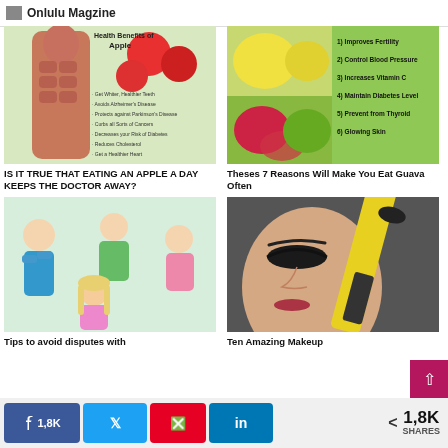Onlulu Magzine
[Figure (infographic): Health benefits of apple infographic with anatomical body image and list of benefits]
[Figure (infographic): Guava fruit images with 6 health benefits listed: 1) Improves Fertility, 2) Control Blood Pressure, 3) Increases Vitamin C, 4) Maintain Diabetes Level, 5) Prevent from Thyroid, 6) Glowing Skin]
IS IT TRUE THAT EATING AN APPLE A DAY KEEPS THE DOCTOR AWAY?
Theses 7 Reasons Will Make You Eat Guava Often
[Figure (illustration): Illustration of people having a dispute/argument]
[Figure (photo): Close-up photo of woman with makeup and makeup brush]
Tips to avoid disputes with
Ten Amazing Makeup
1,8K SHARES
1,8K
1,8K